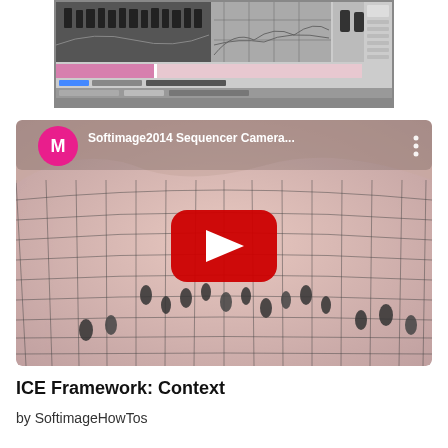[Figure (screenshot): Screenshot of Softimage 3D software interface showing wireframe terrain and character animation timeline]
[Figure (screenshot): YouTube video thumbnail for Softimage2014 Sequencer Camera video, showing 3D characters on a grid terrain with YouTube play button overlay and channel avatar M]
ICE Framework: Context
by SoftimageHowTos